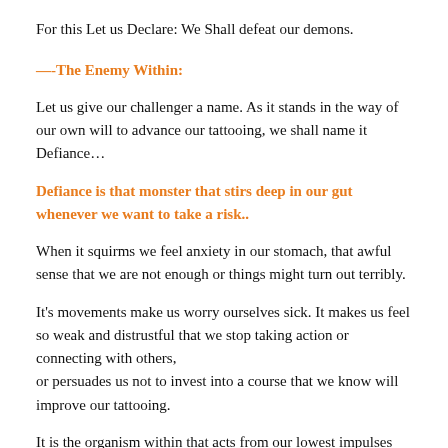For this Let us Declare: We Shall defeat our demons.
—-The Enemy Within:
Let us give our challenger a name. As it stands in the way of our own will to advance our tattooing, we shall name it Defiance…
Defiance is that monster that stirs deep in our gut whenever we want to take a risk..
When it squirms we feel anxiety in our stomach, that awful sense that we are not enough or things might turn out terribly.
It's movements make us worry ourselves sick. It makes us feel so weak and distrustful that we stop taking action or connecting with others,
or persuades us not to invest into a course that we know will improve our tattooing.
It is the organism within that acts from our lowest impulses for